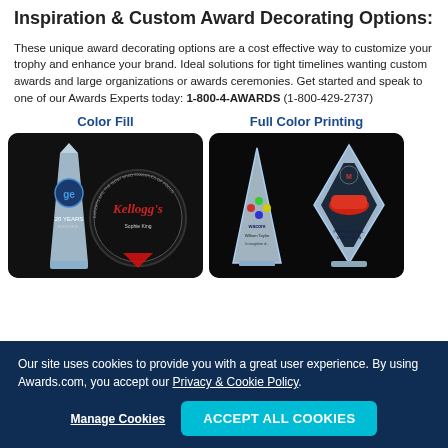Inspiration & Custom Award Decorating Options:
These unique award decorating options are a cost effective way to customize your trophy and enhance your brand. Ideal solutions for tight timelines wanting custom awards and large organizations or awards ceremonies. Get started and speak to one of our Awards Experts today: 1-800-4-AWARDS (1-800-429-2737)
Color Fill
[Figure (photo): Two crystal awards with color fill: a GE 20 Years of Service award and a Kellogg's circular award with red color fill]
Full Color Printing
[Figure (photo): Two crystal awards with full color printing: a Wacom triangular award and a Mazda diamond-shaped award with color car image]
Our site uses cookies to provide you with a great user experience. By using Awards.com, you accept our Privacy & Cookie Policy.
Manage Cookies | ACCEPT ALL COOKIES